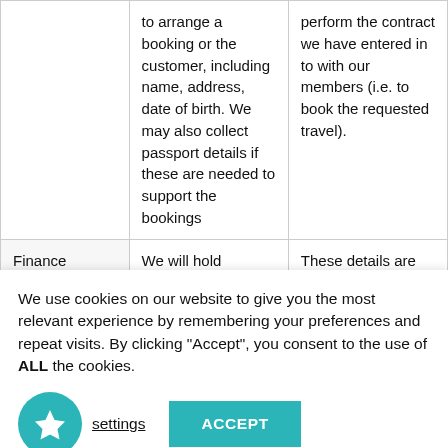|  | to arrange a booking or the customer, including name, address, date of birth. We may also collect passport details if these are needed to support the bookings | perform the contract we have entered in to with our members (i.e. to book the requested travel). |
| Finance | We will hold personal details relating to the | These details are necessary for us to |
We use cookies on our website to give you the most relevant experience by remembering your preferences and repeat visits. By clicking "Accept", you consent to the use of ALL the cookies.